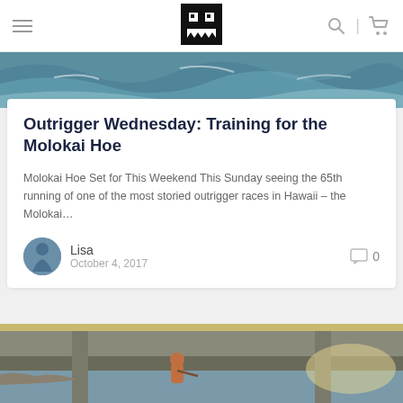Navigation bar with hamburger menu, logo, search and cart icons
[Figure (photo): Ocean wave photo used as article header image at top]
Outrigger Wednesday: Training for the Molokai Hoe
Molokai Hoe Set for This Weekend This Sunday seeing the 65th running of one of the most storied outrigger races in Hawaii – the Molokai…
Lisa
October 4, 2017
[Figure (photo): Person paddling under a concrete bridge, water scene, second article card image at bottom]